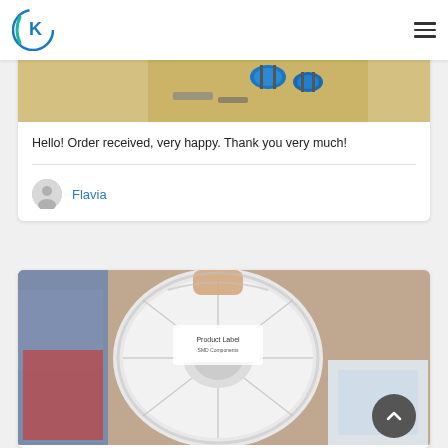K logo / navigation header
[Figure (photo): Cropped image of electronic components on a golden/tan surface with blue ceramic capacitors visible]
Hello! Order received, very happy. Thank you very much!
Flavia
[Figure (photo): Photo of a white reel/spool of SMD components on cardboard, with packaging and clothing visible in background]